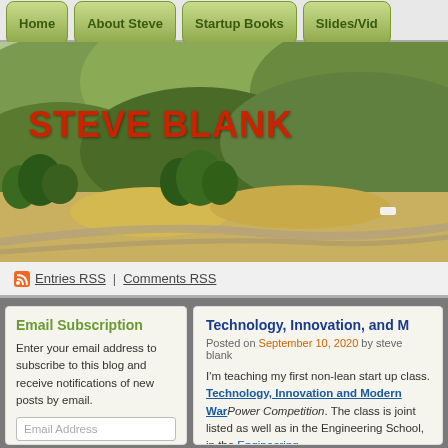Home | About Steve | Startup Books | Slides/Vid
[Figure (photo): Landscape banner photo of hillside terrain with 'STEVE BLANK' text overlay in red]
Entries RSS | Comments RSS
Email Subscription
Enter your email address to subscribe to this blog and receive notifications of new posts by email.
Email Address
Technology, Innovation, and M...
Posted on September 10, 2020 by steve blank
I'm teaching my first non-lean start up class. Technology, Innovation and Modern War... Power Competition. The class is joint listed as well as in the Engineering School, in the Engineering.